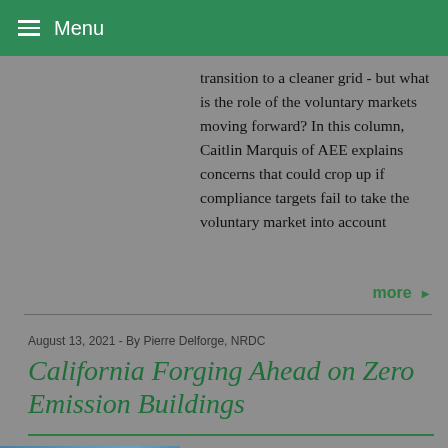Menu
transition to a cleaner grid - but what is the role of the voluntary markets moving forward? In this column, Caitlin Marquis of AEE explains concerns that could crop up if compliance targets fail to take the voluntary market into account
more ▶
August 13, 2021 - By Pierre Delforge, NRDC
California Forging Ahead on Zero Emission Buildings
Hopeful climate news came from